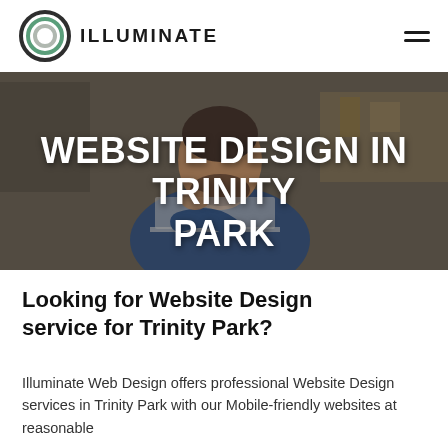ILLUMINATE
[Figure (photo): A bearded man in a blue work jacket looking at a laptop in a workshop environment, used as a hero banner image]
WEBSITE DESIGN IN TRINITY PARK
Looking for Website Design service for Trinity Park?
Illuminate Web Design offers professional Website Design services in Trinity Park with our Mobile-friendly websites at reasonable